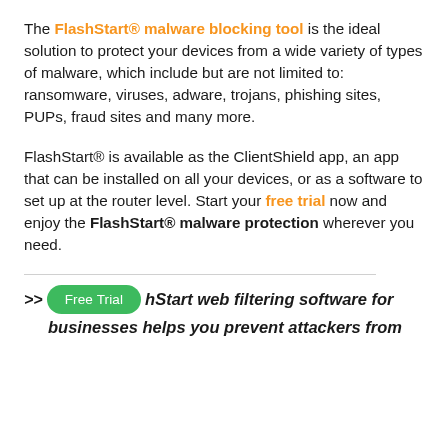The FlashStart® malware blocking tool is the ideal solution to protect your devices from a wide variety of types of malware, which include but are not limited to: ransomware, viruses, adware, trojans, phishing sites, PUPs, fraud sites and many more.
FlashStart® is available as the ClientShield app, an app that can be installed on all your devices, or as a software to set up at the router level. Start your free trial now and enjoy the FlashStart® malware protection wherever you need.
>> Free Trial [button] FlashStart web filtering software for businesses helps you prevent attackers from